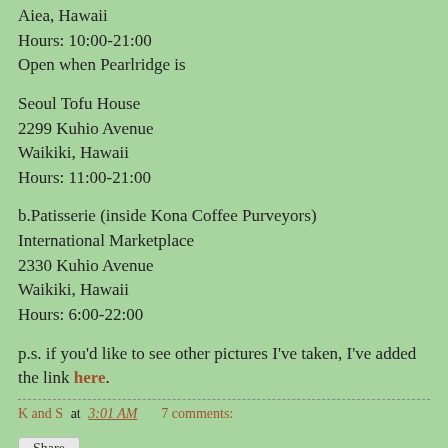Aiea, Hawaii
Hours: 10:00-21:00
Open when Pearlridge is
Seoul Tofu House
2299 Kuhio Avenue
Waikiki, Hawaii
Hours: 11:00-21:00
b.Patisserie (inside Kona Coffee Purveyors)
International Marketplace
2330 Kuhio Avenue
Waikiki, Hawaii
Hours: 6:00-22:00
p.s. if you'd like to see other pictures I've taken, I've added the link here.
K and S at 3:01 AM    7 comments: